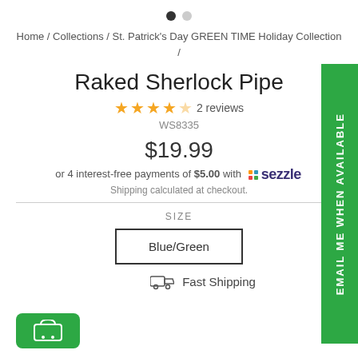[Figure (other): Two navigation dots, one filled dark and one light gray]
Home / Collections / St. Patrick's Day GREEN TIME Holiday Collection /
Raked Sherlock Pipe
★★★★☆ 2 reviews
WS8335
$19.99
or 4 interest-free payments of $5.00 with sezzle
Shipping calculated at checkout.
SIZE
Blue/Green
Fast Shipping
EMAIL ME WHEN AVAILABLE